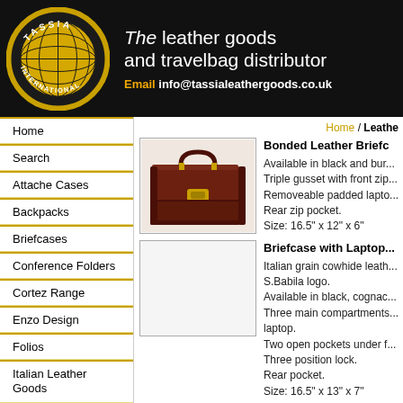[Figure (logo): Tassia International logo - circular gold and black globe design with text TASSIA around top arc and INTERNATIONAL around bottom arc]
The leather goods and travelbag distributor
Email info@tassialeathergoods.co.uk
Home
Search
Attache Cases
Backpacks
Briefcases
Conference Folders
Cortez Range
Enzo Design
Folios
Italian Leather Goods
Laptop Bags
Leather Attache
Home / Leathe
[Figure (photo): Dark brown bonded leather briefcase with gold clasp, triple gusset design, handle on top]
Bonded Leather Briefcase. Available in black and bur... Triple gusset with front zip... Removeable padded lapto... Rear zip pocket. Size: 16.5" x 12" x 6"
[Figure (photo): Empty product image placeholder for Briefcase with Laptop compartment]
Briefcase with Laptop... Italian grain cowhide leath... S.Babila logo. Available in black, cognac... Three main compartments... laptop. Two open pockets under f... Three position lock. Rear pocket. Size: 16.5" x 13" x 7"